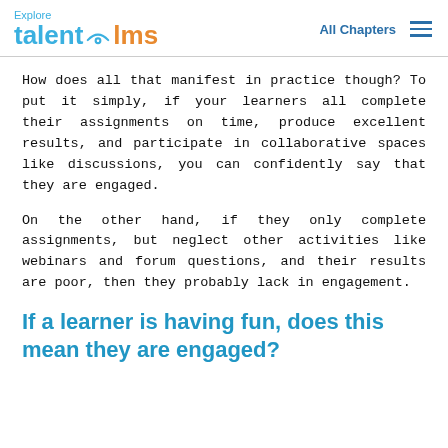Explore TalentLMS — All Chapters
How does all that manifest in practice though? To put it simply, if your learners all complete their assignments on time, produce excellent results, and participate in collaborative spaces like discussions, you can confidently say that they are engaged.
On the other hand, if they only complete assignments, but neglect other activities like webinars and forum questions, and their results are poor, then they probably lack in engagement.
If a learner is having fun, does this mean they are engaged?